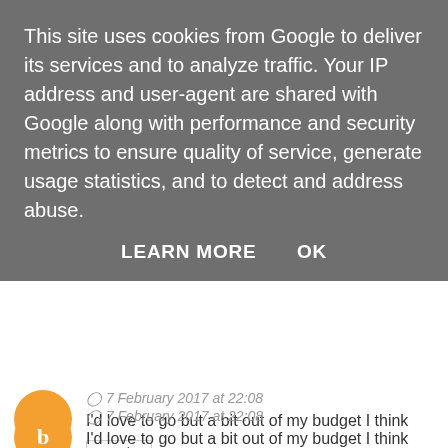This site uses cookies from Google to deliver its services and to analyze traffic. Your IP address and user-agent are shared with Google along with performance and security metrics to ensure quality of service, generate usage statistics, and to detect and address abuse.
LEARN MORE   OK
7 February 2017 at 22:08
I'd love to go but a bit out of my budget I think
Reply
Unknown
10 February 2017 at 22:16
Never been to Dubai, photos do look tempting..one day!
Reply
Paula T
11 February 2017 at 10:56